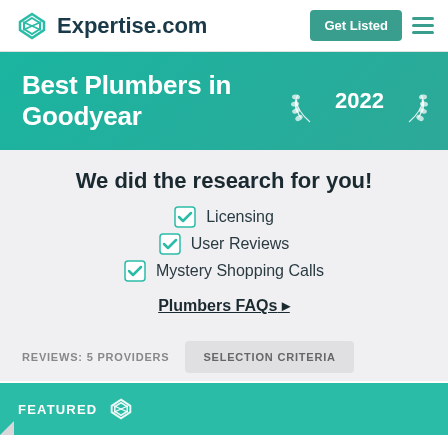[Figure (logo): Expertise.com logo with teal diamond/rhombus icon and site name]
Get Listed
Best Plumbers in Goodyear 2022
We did the research for you!
Licensing
User Reviews
Mystery Shopping Calls
Plumbers FAQs ▸
REVIEWS: 5 PROVIDERS
SELECTION CRITERIA
FEATURED